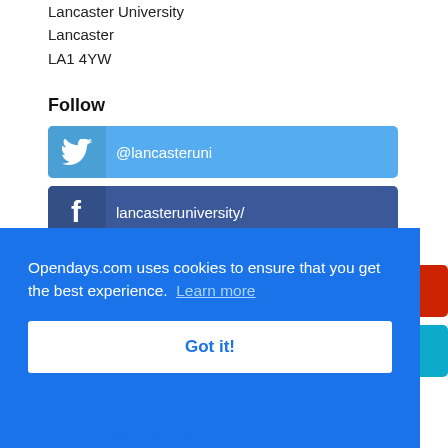Lancaster University
Lancaster
LA1 4YW
Follow
@lancasteruni
lancasteruniversity/
lancasteruni/
Opendays.com uses cookies to ensure that you get the best experience. Learn more
Got it!
visitus@lancaster.ac.uk